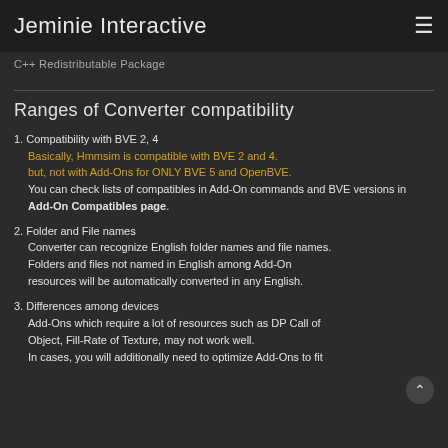Jeminie Interactive
C++ Redistributable Package
Ranges of Converter compatibility
1. Compatibility with BVE 2, 4
Basically, Hmmsim is compatible with BVE 2 and 4. but, not with Add-Ons for ONLY BVE 5 and OpenBVE.
You can check lists of compatibles in Add-On commands and BVE versions in Add-On Compatibles page.
2. Folder and File names
Converter can recognize English folder names and file names. Folders and files not named in English among Add-On resources will be automatically converted in any English.
3. Differences among devices
Add-Ons which require a lot of resources such as DP Call of Object, Fill-Rate of Texture, may not work well.
In cases, you will additionally need to optimize Add-Ons to fit